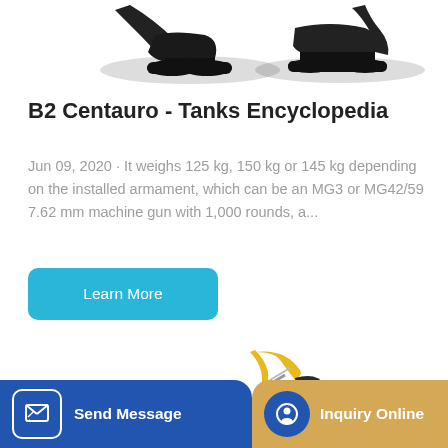[Figure (photo): Top portion of military vehicles/excavators on white background, partially cropped]
B2 Centauro - Tanks Encyclopedia
Jun 09, 2020 · It weighs 125 kg, 150 kg or 145 kg depending on the installed armament, which can be an MG3 or MG42/59 7.62 mm machine gun with 1,000 rounds, a...
Learn More
[Figure (photo): Yellow excavator/construction machine against white background]
Send Message
Inquiry Online